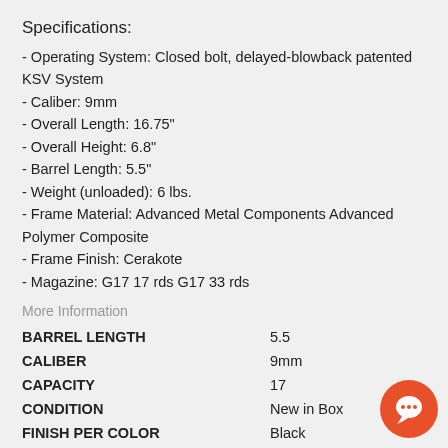Specifications:
- Operating System: Closed bolt, delayed-blowback patented KSV System
- Caliber: 9mm
- Overall Length: 16.75"
- Overall Height: 6.8"
- Barrel Length: 5.5"
- Weight (unloaded): 6 lbs.
- Frame Material: Advanced Metal Components Advanced Polymer Composite
- Frame Finish: Cerakote
- Magazine: G17 17 rds G17 33 rds
More Information
|  |  |
| --- | --- |
| BARREL LENGTH | 5.5 |
| CALIBER | 9mm |
| CAPACITY | 17 |
| CONDITION | New in Box |
| FINISH PER COLOR | Black |
| MANUFACTURER PART NUMBER | KV90-PBL20 |